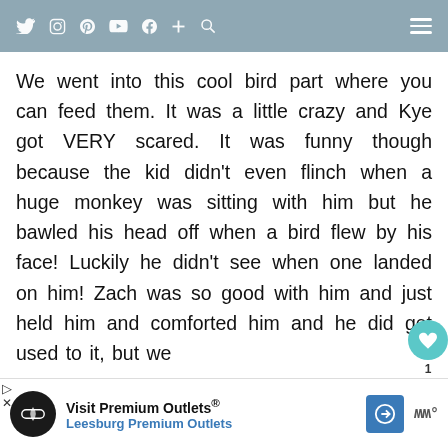Social media navigation bar with icons: Twitter, Instagram, Pinterest, YouTube, Facebook, Plus, Search, Hamburger menu
We went into this cool bird part where you can feed them. It was a little crazy and Kye got VERY scared. It was funny though because the kid didn't even flinch when a huge monkey was sitting with him but he bawled his head off when a bird flew by his face! Luckily he didn't see when one landed on him! Zach was so good with him and just held him and comforted him and he did get used to it, but we didn't love it.
[Figure (screenshot): Advertisement banner for Visit Premium Outlets - Leesburg Premium Outlets with logo, navigation arrow icon, and brand mark]
Visit Premium Outlets® Leesburg Premium Outlets